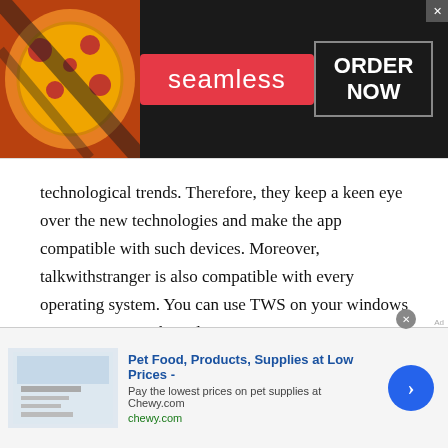[Figure (screenshot): Seamless food delivery advertisement banner with pizza image on left, red Seamless logo in center, and ORDER NOW button in box on right]
technological trends. Therefore, they keep a keen eye over the new technologies and make the app compatible with such devices. Moreover, talkwithstranger is also compatible with every operating system. You can use TWS on your windows system, Macintosh, and Linux, etc.
Best for everyone:
It does not matter which age group, income class, or
[Figure (screenshot): Chewy.com advertisement banner: Pet Food, Products, Supplies at Low Prices - Pay the lowest prices on pet supplies at Chewy.com, with blue arrow button]